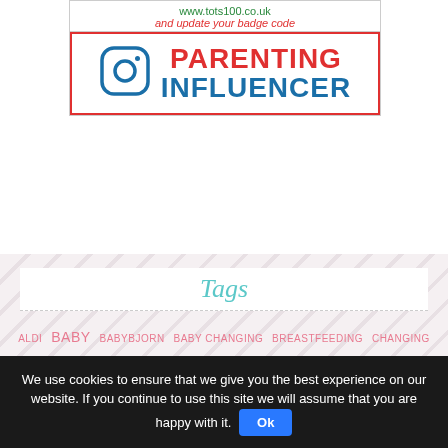[Figure (logo): Tots100 website badge with green URL text 'www.tots100.co.uk' and red italic text 'and update your badge code']
[Figure (logo): Instagram-style Parenting Influencer badge with Instagram icon, red PARENTING text and blue INFLUENCER text in red border box]
Tags
ALDI BABY BABYBJORN BABY CHANGING BREASTFEEDING CHANGING BAG CHILDREN CHILDREN'S LITERATURE CHRISTMAS COMPETITION DISNEY FATHER'S DAY FEEDING FISHER PRICE FRUGI FRUGI FAMILY GARDEN GIFT GUIDE GIFTS HOLIDAY HOME HOME DECOR HOME IMPROVEMENTS IMAGINATIVE PLAY KIDS LEGO
We use cookies to ensure that we give you the best experience on our website. If you continue to use this site we will assume that you are happy with it. Ok